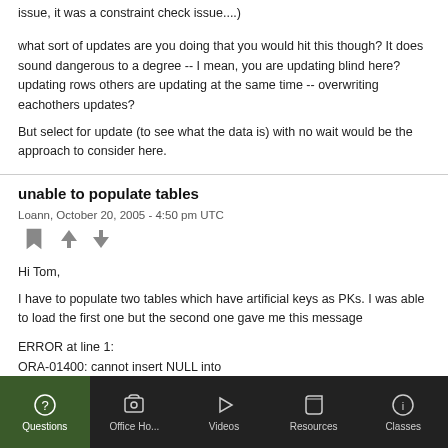issue, it was a constraint check issue....)
what sort of updates are you doing that you would hit this though? It does sound dangerous to a degree -- I mean, you are updating blind here? updating rows others are updating at the same time -- overwriting eachothers updates?

But select for update (to see what the data is) with no wait would be the approach to consider here.
unable to populate tables
Loann, October 20, 2005 - 4:50 pm UTC
Hi Tom,

I have to populate two tables which have artificial keys as PKs. I was able to load the first one but the second one gave me this message

ERROR at line 1:
ORA-01400: cannot insert NULL into
Questions | Office Ho... | Videos | Resources | Classes